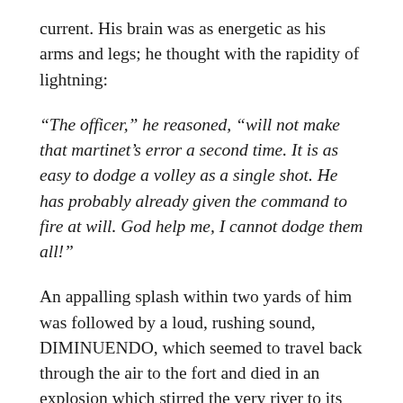current. His brain was as energetic as his arms and legs; he thought with the rapidity of lightning:
“The officer,” he reasoned, “will not make that martinet’s error a second time. It is as easy to dodge a volley as a single shot. He has probably already given the command to fire at will. God help me, I cannot dodge them all!”
An appalling splash within two yards of him was followed by a loud, rushing sound, DIMINUENDO, which seemed to travel back through the air to the fort and died in an explosion which stirred the very river to its deeps! A rising sheet of water curved over him, fell down upon him, blinded him, strangled